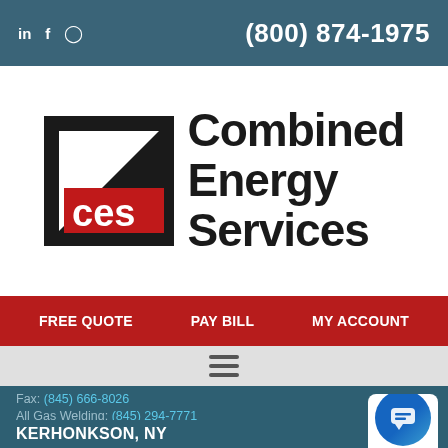in f © (800) 874-1975
[Figure (logo): Combined Energy Services logo with black triangle, red CES text, and bold black Combined Energy Services text]
FREE QUOTE   PAY BILL   MY ACCOUNT
[Figure (other): Hamburger menu icon (three horizontal lines)]
Fax: (845) 666-8026
All Gas Welding: (845) 294-7771
KERHONKSON, NY
6525 U.S. 209
Kerhonkson, NY 12446
(corner Rt 209 & Rt. 44/55)